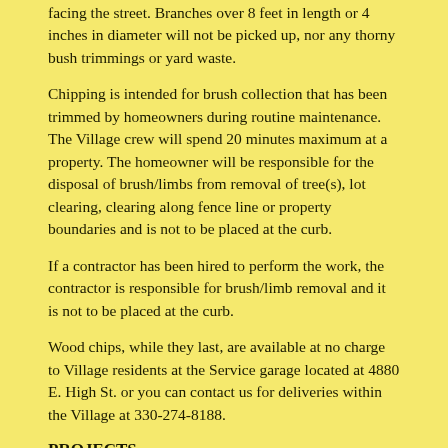facing the street. Branches over 8 feet in length or 4 inches in diameter will not be picked up, nor any thorny bush trimmings or yard waste.
Chipping is intended for brush collection that has been trimmed by homeowners during routine maintenance. The Village crew will spend 20 minutes maximum at a property. The homeowner will be responsible for the disposal of brush/limbs from removal of tree(s), lot clearing, clearing along fence line or property boundaries and is not to be placed at the curb.
If a contractor has been hired to perform the work, the contractor is responsible for brush/limb removal and it is not to be placed at the curb.
Wood chips, while they last, are available at no charge to Village residents at the Service garage located at 4880 E. High St. or you can contact us for deliveries within the Village at 330-274-8188.
PROJECTS
After years of major infrastructure construction and replacement in the water and sewer areas, this years�s focus will be storm sewer and repaving